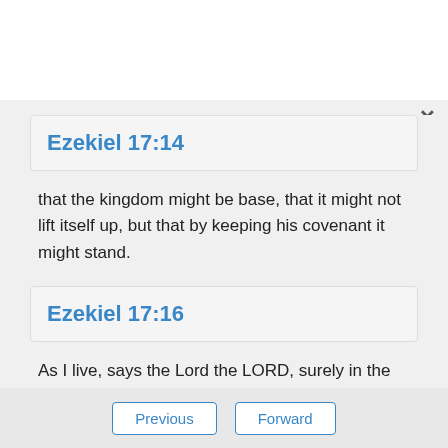Ezekiel 17:14
that the kingdom might be base, that it might not lift itself up, but that by keeping his covenant it might stand.
Ezekiel 17:16
As I live, says the Lord the LORD, surely in the place where the king dwells who made him king, whose oath he despised, and whose covenant he
Previous   Forward